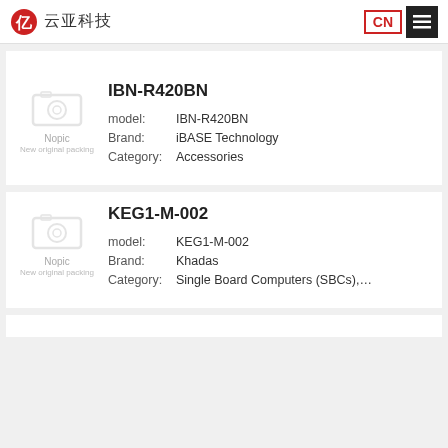云亚科技 CN ≡
IBN-R420BN
model: IBN-R420BN
Brand: iBASE Technology
Category: Accessories
KEG1-M-002
model: KEG1-M-002
Brand: Khadas
Category: Single Board Computers (SBCs),...